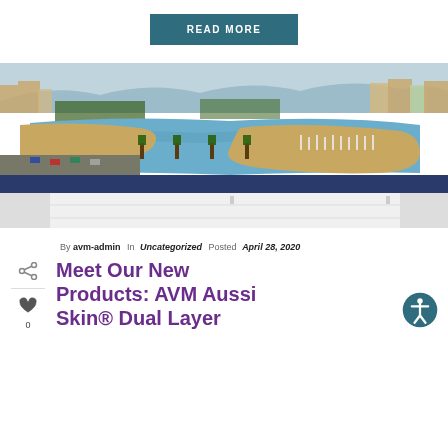READ MORE
[Figure (photo): Aerial view of a marina and beach area with city buildings, palm trees, a lagoon/harbor with boats, and a large white rooftop structure in the foreground]
By avm-admin In Uncategorized Posted April 28, 2020
Meet Our New Products: AVM Aussi Skin® Dual Layer